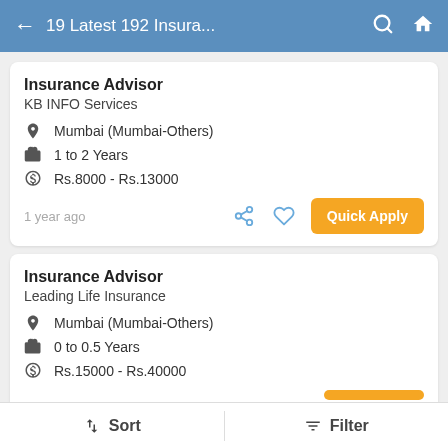19 Latest 192 Insura...
Insurance Advisor
KB INFO Services
Mumbai (Mumbai-Others)
1 to 2 Years
Rs.8000 - Rs.13000
1 year ago
Insurance Advisor
Leading Life Insurance
Mumbai (Mumbai-Others)
0 to 0.5 Years
Rs.15000 - Rs.40000
Sort   Filter